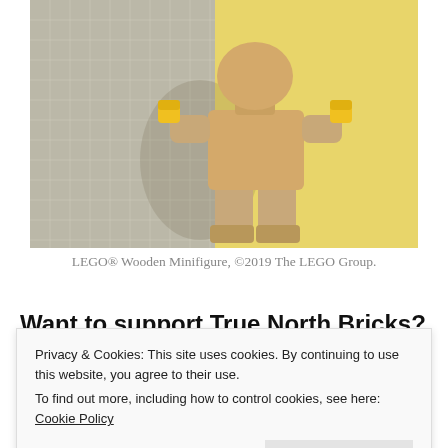[Figure (photo): LEGO Wooden Minifigure standing in front of a grid of small wooden cubes against a yellow background. The figure is made of light-colored wood with yellow LEGO stud hands.]
LEGO® Wooden Minifigure, ©2019 The LEGO Group.
Want to support True North Bricks?
Privacy & Cookies: This site uses cookies. By continuing to use this website, you agree to their use.
To find out more, including how to control cookies, see here: Cookie Policy
Close and accept
links in the menu to the right. These affiliate links earn